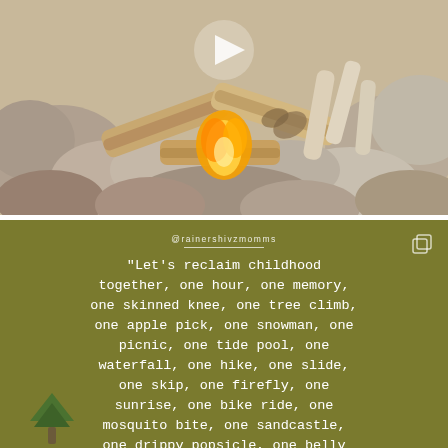[Figure (photo): Close-up photo of a campfire being started with wooden logs arranged over rocks, yellow and orange flames visible beneath the wood. A white play button triangle overlay is visible at the top center of the image.]
@rainershivzmomms
"Let's reclaim childhood together, one hour, one memory, one skinned knee, one tree climb, one apple pick, one snowman, one picnic, one tide pool, one waterfall, one hike, one slide, one skip, one firefly, one sunrise, one bike ride, one mosquito bite, one sandcastle, one drippy popsicle, one belly laugh at a time."